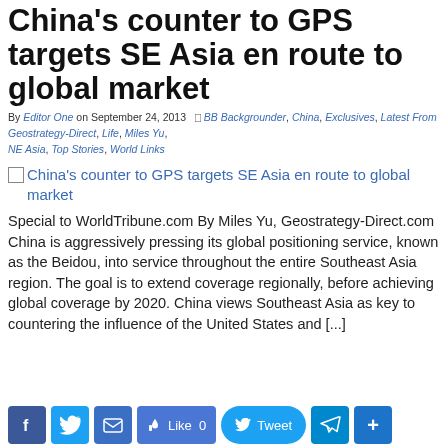China's counter to GPS targets SE Asia en route to global market
By Editor One on September 24, 2013  BB Backgrounder, China, Exclusives, Latest From Geostrategy-Direct, Life, Miles Yu, NE Asia, Top Stories, World Links
China's counter to GPS targets SE Asia en route to global market
Special to WorldTribune.com By Miles Yu, Geostrategy-Direct.com China is aggressively pressing its global positioning service, known as the Beidou, into service throughout the entire Southeast Asia region. The goal is to extend coverage regionally, before achieving global coverage by 2020. China views Southeast Asia as key to countering the influence of the United States and [...]
[Figure (infographic): Social sharing bar with Facebook, Twitter, Email, Like (0), Tweet, Telegram, and share (+) buttons]